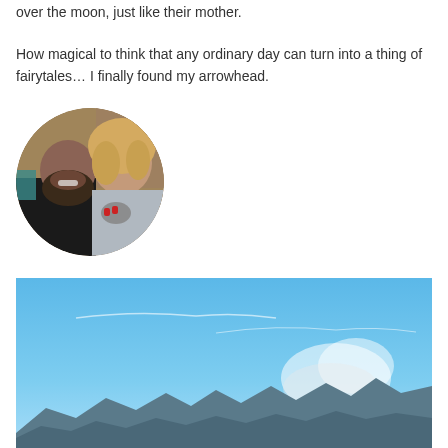over the moon, just like their mother.
How magical to think that any ordinary day can turn into a thing of fairytales… I finally found my arrowhead.
[Figure (photo): Circular cropped photo of a couple. A bearded man smiling and a blonde woman kissing his cheek, holding an arrowhead. Outdoor rocky background.]
[Figure (photo): Landscape photograph showing a panoramic mountain range under a bright blue sky with thin wispy clouds and some smoke or haze near the horizon.]